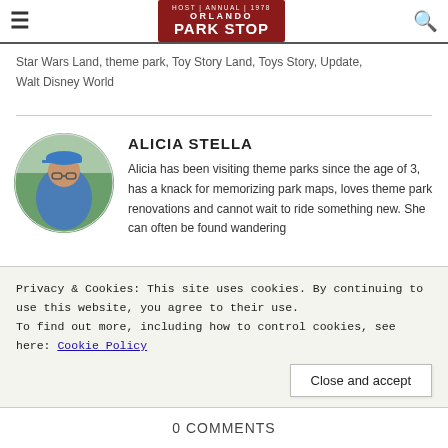Orlando Park Stop — navigation header with hamburger menu and search icon
Star Wars Land, theme park, Toy Story Land, Toys Story, Update, Walt Disney World
ALICIA STELLA
[Figure (photo): Circular profile photo of Alicia Stella wearing a blue cap outdoors near theme park rides]
Alicia has been visiting theme parks since the age of 3, has a knack for memorizing park maps, loves theme park renovations and cannot wait to ride something new. She can often be found wandering
Privacy & Cookies: This site uses cookies. By continuing to use this website, you agree to their use.
To find out more, including how to control cookies, see here: Cookie Policy
Close and accept
0 COMMENTS